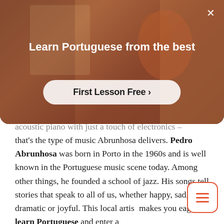[Figure (screenshot): Advertisement overlay with warm brown/red background showing a person in motion. Contains headline 'Learn Portuguese from the best' and a 'First Lesson Free >' call-to-action button. A close (X) button appears in the top right.]
acoustic piano with just a touch of electronics – that's the type of music Abrunhosa delivers. Pedro Abrunhosa was born in Porto in the 1960s and is well known in the Portuguese music scene today. Among other things, he founded a school of jazz. His songs tell stories that speak to all of us, whether happy, sad, dramatic or joyful. This local artist makes you eager to learn Portuguese and enter a